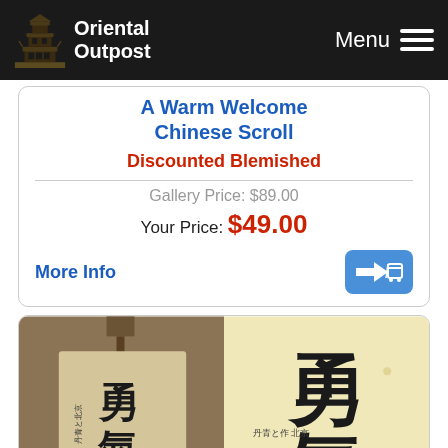Oriental Outpost | Menu
A Warm Welcome Chinese Scroll
Discounted Blemished
Gallery Price: $89.00
Your Price: $49.00
More Info
[Figure (photo): Two views of a Chinese/Japanese calligraphy scroll showing characters meaning Courage (勇気/勇氣), one showing the full scroll and one a close-up of the calligraphy on pale yellow background]